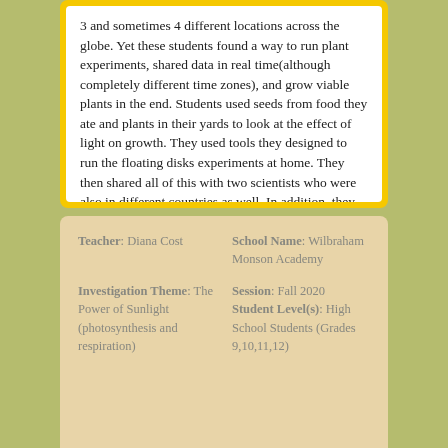3 and sometimes 4 different locations across the globe. Yet these students found a way to run plant experiments, shared data in real time(although completely different time zones), and grow viable plants in the end. Students used seeds from food they ate and plants in their yards to look at the effect of light on growth. They used tools they designed to run the floating disks experiments at home. They then shared all of this with two scientists who were also in different countries as well. In addition, they got one their families involved an are developing small home gardens so they can have fresh vegetables at home.
-- Diana Cost, Teacher
| Teacher: Diana Cost | School Name: Wilbraham Monson Academy |
| Investigation Theme: The Power of Sunlight (photosynthesis and respiration) | Session: Fall 2020
Student Level(s): High School Students (Grades 9,10,11,12) |